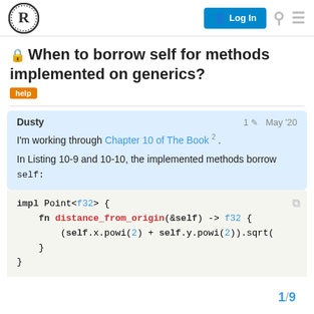Rust Programming Language Forum — Log In
🔒 When to borrow self for methods implemented on generics?
help
Dusty   1 ✏  May '20
I'm working through Chapter 10 of The Book 2 .
In Listing 10-9 and 10-10, the implemented methods borrow self:
[Figure (screenshot): Code block showing Rust impl block: impl Point<f32> { fn distance_from_origin(&self) -> f32 { (self.x.powi(2) + self.y.powi(2)).sqrt() } }]
1 / 9